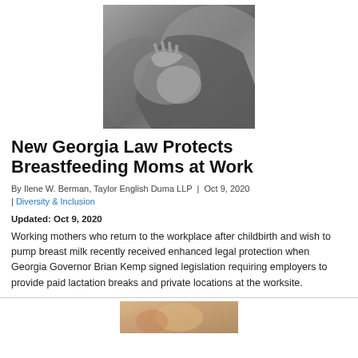[Figure (photo): Black and white photo of a mother breastfeeding a baby, close-up view]
New Georgia Law Protects Breastfeeding Moms at Work
By Ilene W. Berman, Taylor English Duma LLP | Oct 9, 2020 | Diversity & Inclusion
Updated: Oct 9, 2020
Working mothers who return to the workplace after childbirth and wish to pump breast milk recently received enhanced legal protection when Georgia Governor Brian Kemp signed legislation requiring employers to provide paid lactation breaks and private locations at the worksite.
[Figure (photo): Partial photo visible at bottom of page]